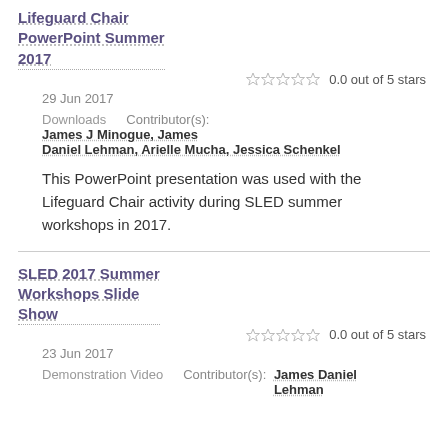Lifeguard Chair PowerPoint Summer 2017
0.0 out of 5 stars
29 Jun 2017
Downloads   Contributor(s): James J Minogue, James Daniel Lehman, Arielle Mucha, Jessica Schenkel
This PowerPoint presentation was used with the Lifeguard Chair activity during SLED summer workshops in 2017.
SLED 2017 Summer Workshops Slide Show
0.0 out of 5 stars
23 Jun 2017
Demonstration Video   Contributor(s): James Daniel Lehman